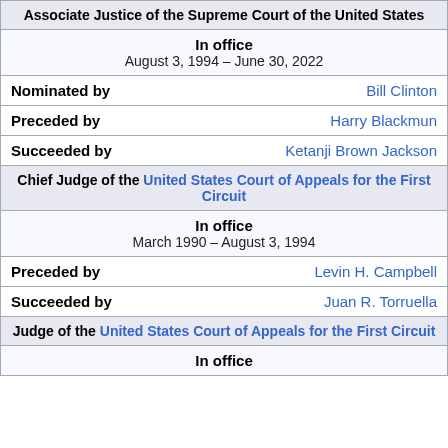| Associate Justice of the Supreme Court of the United States |
| In office | August 3, 1994 – June 30, 2022 |
| Nominated by | Bill Clinton |
| Preceded by | Harry Blackmun |
| Succeeded by | Ketanji Brown Jackson |
| Chief Judge of the United States Court of Appeals for the First Circuit |
| In office | March 1990 – August 3, 1994 |
| Preceded by | Levin H. Campbell |
| Succeeded by | Juan R. Torruella |
| Judge of the United States Court of Appeals for the First Circuit |
| In office |